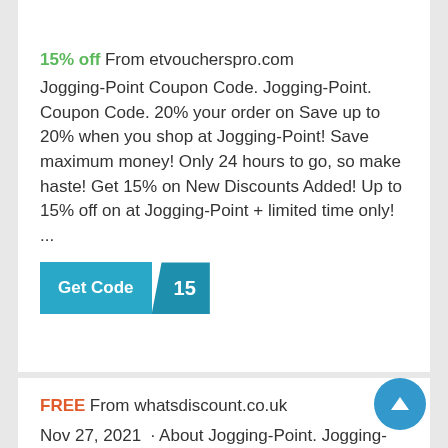15% off From etvoucherspro.com
Jogging-Point Coupon Code. Jogging-Point. Coupon Code. 20% your order on Save up to 20% when you shop at Jogging-Point! Save maximum money! Only 24 hours to go, so make haste! Get 15% on New Discounts Added! Up to 15% off on at Jogging-Point + limited time only! ...
Get Code 15
FREE From whatsdiscount.co.uk
Nov 27, 2021 · About Jogging-Point. Jogging-Point is a well-known United Kingdom online retailer. They always promise the best price, especially when a promo code is used. FAQs for